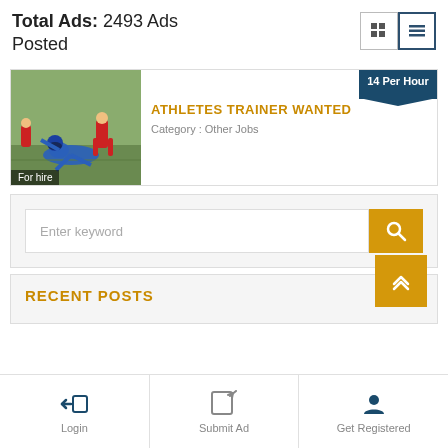Total Ads: 2493 Ads Posted
[Figure (screenshot): Ad listing card for Athletes Trainer Wanted with a rugby/football image on the left, price badge '14 Per Hour' top right, title in orange, and category label. 'For hire' badge on image.]
ATHLETES TRAINER WANTED
Category : Other Jobs
Enter keyword
RECENT POSTS
Login
Submit Ad
Get Registered